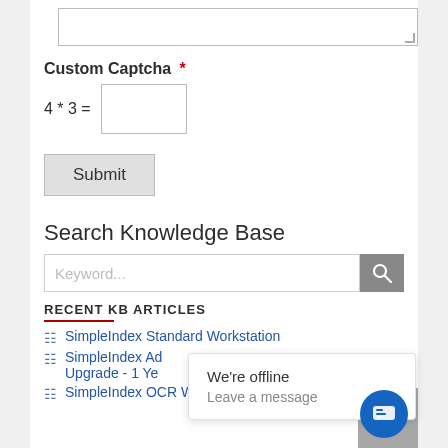[textarea input box]
Custom Captcha *
4 * 3 = [input field]
Submit
Search Knowledge Base
Keyword...
RECENT KB ARTICLES
SimpleIndex Standard Workstation
SimpleIndex Advanced Workstation Upgrade - 1 Year
SimpleIndex OCR Workstation
We're offline
Leave a message